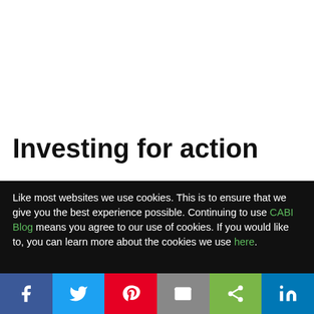Investing for action
Like most websites we use cookies. This is to ensure that we give you the best experience possible. Continuing to use CABI Blog means you agree to our use of cookies. If you would like to, you can learn more about the cookies we use here.